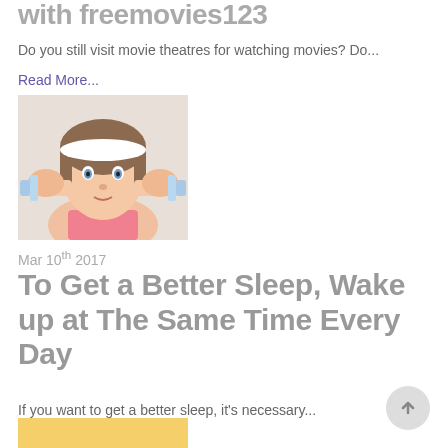with freemovies123
Do you still visit movie theatres for watching movies? Do...
Read More...
[Figure (photo): Woman holding blue dumbbells at shoulder height wearing a white headband and pink athletic top]
Mar 10th 2017
To Get a Better Sleep, Wake up at The Same Time Every Day
If you want to get a better sleep, it's necessary...
Read More...
[Figure (photo): Partial view of a yellow-toned image at bottom of page]